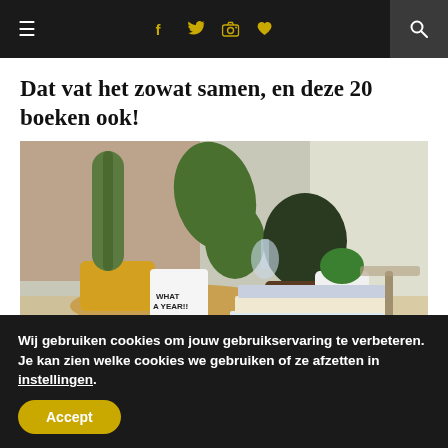≡  f  𝕥  📷  ♥  🔍
Dat vat het zowat samen, en deze 20 boeken ook!
[Figure (photo): A tabletop scene with several cacti in yellow and wicker pots, a white cup reading 'WHAT A YEAR!!', a small white pot with a green plant, and stacked books, photographed near a window.]
Wij gebruiken cookies om jouw gebruikservaring te verbeteren. Je kan zien welke cookies we gebruiken of ze afzetten in instellingen.
Accept